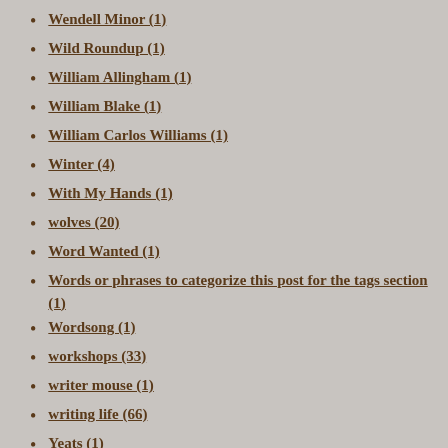Wendell Minor (1)
Wild Roundup (1)
William Allingham (1)
William Blake (1)
William Carlos Williams (1)
Winter (4)
With My Hands (1)
wolves (20)
Word Wanted (1)
Words or phrases to categorize this post for the tags section (1)
Wordsong (1)
workshops (33)
writer mouse (1)
writing life (66)
Yeats (1)